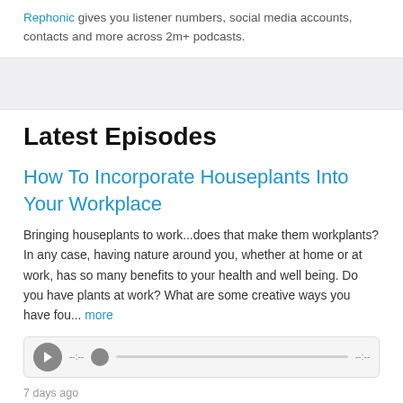Rephonic gives you listener numbers, social media accounts, contacts and more across 2m+ podcasts.
Latest Episodes
How To Incorporate Houseplants Into Your Workplace
Bringing houseplants to work...does that make them workplants? In any case, having nature around you, whether at home or at work, has so many benefits to your health and well being. Do you have plants at work? What are some creative ways you have fou... more
7 days ago